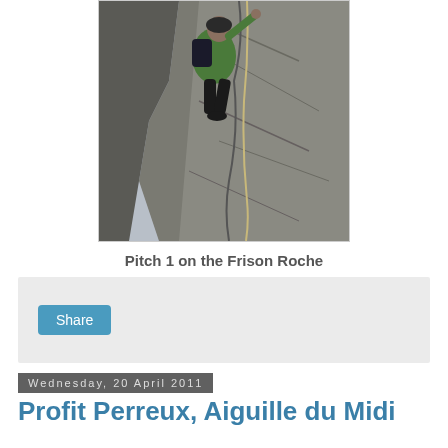[Figure (photo): Rock climber in green jacket ascending a steep rock face, with a rope visible, overcast sky in background]
Pitch 1 on the Frison Roche
Share
Wednesday, 20 April 2011
Profit Perreux, Aiguille du Midi